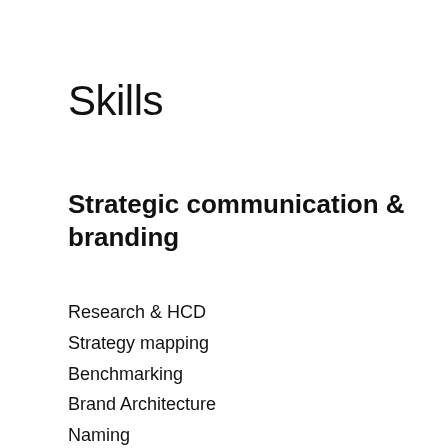Skills
Strategic communication & branding
Research & HCD
Strategy mapping
Benchmarking
Brand Architecture
Naming